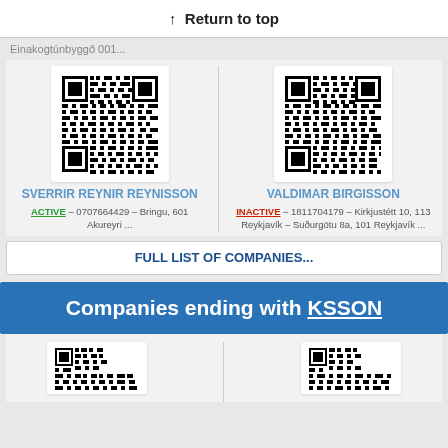↑ Return to top
Einakogtúnbyggð 001...
[Figure (other): QR code for Sverrir Reynir Reynisson]
SVERRIR REYNIR REYNISSON
ACTIVE – 0707664429 – Bringu, 601 Akureyri ...
[Figure (other): QR code for Valdimar Birgisson]
VALDIMAR BIRGISSON
INACTIVE – 1811704179 – Kirkjustétt 10, 113 Reykjavík – Suðurgötu 8a, 101 Reykjavík ...
FULL LIST OF COMPANIES...
Companies ending with KSSON
[Figure (other): Partial QR code bottom left]
[Figure (other): Partial QR code bottom right]